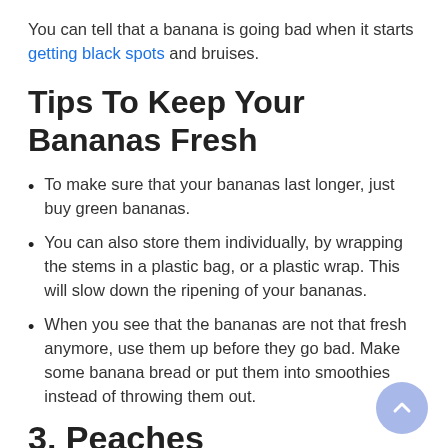You can tell that a banana is going bad when it starts getting black spots and bruises.
Tips To Keep Your Bananas Fresh
To make sure that your bananas last longer, just buy green bananas.
You can also store them individually, by wrapping the stems in a plastic bag, or a plastic wrap. This will slow down the ripening of your bananas.
When you see that the bananas are not that fresh anymore, use them up before they go bad. Make some banana bread or put them into smoothies instead of throwing them out.
3. Peaches